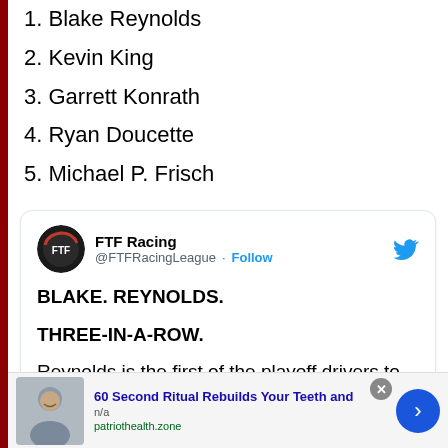1. Blake Reynolds
2. Kevin King
3. Garrett Konrath
4. Ryan Doucette
5. Michael P. Frisch
[Figure (screenshot): Embedded tweet from @FTFRacingLeague (FTF Racing) with text: BLAKE. REYNOLDS. THREE-IN-A-ROW. Reynolds is the first of the playoff drivers to advance to the Round of 12!]
[Figure (infographic): Advertisement bar: '60 Second Ritual Rebuilds Your Teeth and' from patriothealth.zone with an image of a smiling person and a blue arrow button. Has a close (x) button.]